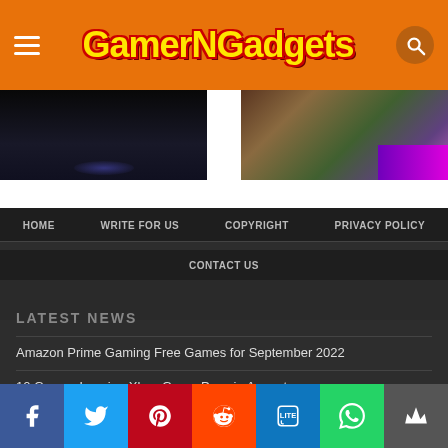GamerNGadgets - Header with logo and navigation
[Figure (screenshot): Two gaming/tech images side by side - left shows dark space/planet scene, right shows forest/nature gaming scene with purple accent]
HOME
WRITE FOR US
COPYRIGHT
PRIVACY POLICY
CONTACT US
LATEST NEWS
Amazon Prime Gaming Free Games for September 2022
10 Games Leaving Xbox Game Pass in August
You Can Bend Corsair's New Gaming Monitor Into a Curved Display
[Figure (infographic): Social media share buttons bar: Facebook, Twitter, Pinterest, Reddit, LinkedIn, WhatsApp, Mix]